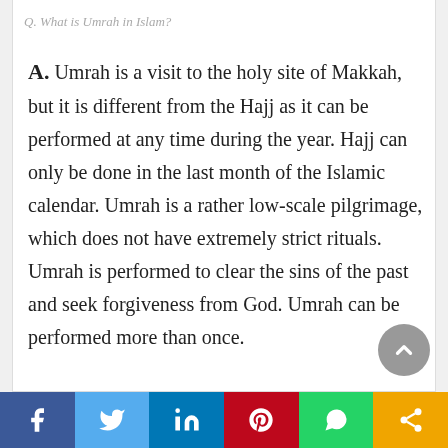Q. What is Umrah in Islam?
A. Umrah is a visit to the holy site of Makkah, but it is different from the Hajj as it can be performed at any time during the year. Hajj can only be done in the last month of the Islamic calendar. Umrah is a rather low-scale pilgrimage, which does not have extremely strict rituals. Umrah is performed to clear the sins of the past and seek forgiveness from God. Umrah can be performed more than once.